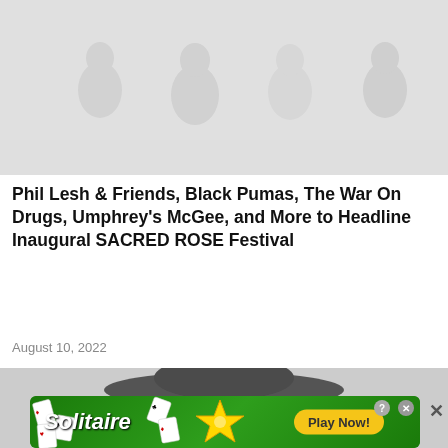[Figure (photo): Black and white group photo of several people sitting/posing together against a light background]
Phil Lesh & Friends, Black Pumas, The War On Drugs, Umphrey's McGee, and More to Headline Inaugural SACRED ROSE Festival
August 10, 2022
[Figure (photo): Black and white close-up photo of an elderly man wearing a large black cowboy hat]
[Figure (screenshot): Solitaire advertisement banner with green background, playing card graphics, and Play Now button]